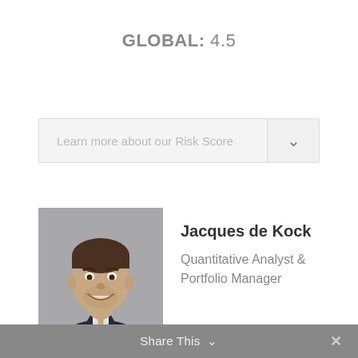GLOBAL: 4.5
Learn more about our Risk Score
[Figure (photo): Headshot of Jacques de Kock, a man in a dark suit with a light tie, smiling, against a grey background]
Jacques de Kock
Quantitative Analyst & Portfolio Manager
Share This ✓  ✕